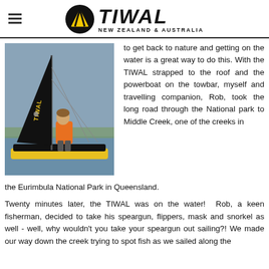TIWAL NEW ZEALAND & AUSTRALIA
[Figure (photo): Person sailing a TIWAL inflatable sailboat on water, wearing an orange life jacket, with a black sail marked TIWAL]
to get back to nature and getting on the water is a great way to do this. With the TIWAL strapped to the roof and the powerboat on the towbar, myself and travelling companion, Rob, took the long road through the National park to Middle Creek, one of the creeks in the Eurimbula National Park in Queensland.
Twenty minutes later, the TIWAL was on the water!  Rob, a keen fisherman, decided to take his speargun, flippers, mask and snorkel as well - well, why wouldn't you take your speargun out sailing?! We made our way down the creek trying to spot fish as we sailed along the